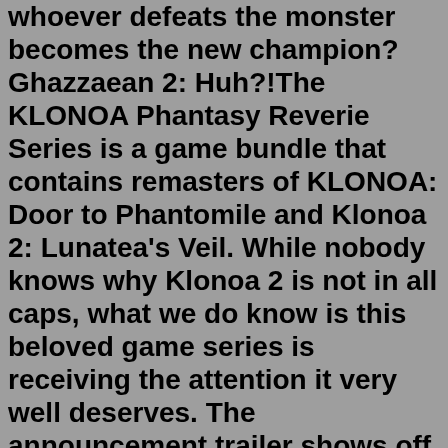whoever defeats the monster becomes the new champion? Ghazzaean 2: Huh?!The KLONOA Phantasy Reverie Series is a game bundle that contains remasters of KLONOA: Door to Phantomile and Klonoa 2: Lunatea's Veil. While nobody knows why Klonoa 2 is not in all caps, what we do know is this beloved game series is receiving the attention it very well deserves. The announcement trailer shows off the vivid art and joyous ...Like the games in the series, there are hearts that represent Klonoa's hit points (similar to many Zelda games). If he runs out of hearts or falls off the stage, he will lose a life, while running... Klonoa Door to Phantomile sees the titular hero awake in his home village of Breezegale, witnessing an airship crashing into a mountain nearby. Curious to see what has happened, he sets out to investigate the crash site alongside his best bud Huepow, a cutesy little spirit that resides within the Wing Ring, which serves as Klonoa's trusty ...The top critics in gaming. All in one place. OpenCritic is a review aggregator for video games, collecting reviews